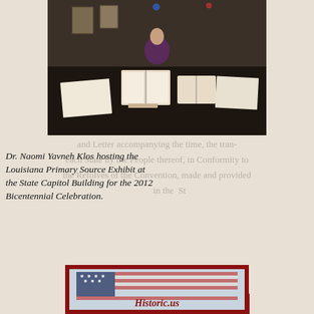[Figure (photo): Dr. Naomi Yavneh Klos standing behind a table displaying historical documents and open books at the Louisiana Primary Source Exhibit, State Capitol Building, 2012 Bicentennial Celebration.]
Dr. Naomi Yavneh Klos hosting the Louisiana Primary Source Exhibit at the State Capitol Building for the 2012 Bicentennial Celebration.
[Figure (illustration): Illustrated American flag waving, with a dark red border frame and text 'Historic.us' at the bottom in red italic script.]